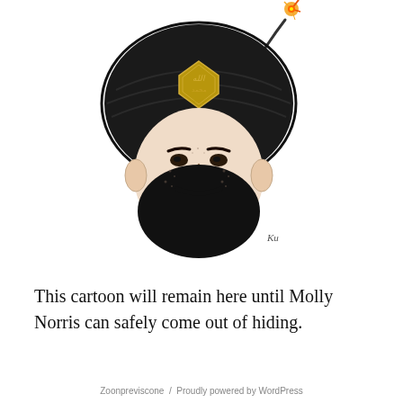[Figure (illustration): A black and white editorial cartoon showing a bearded face wearing a large black turban shaped like a bomb, with a lit fuse at the top right emitting sparks. On the turban is a golden diamond-shaped Islamic calligraphy emblem. The illustration is signed 'Ku' in the lower right area.]
This cartoon will remain here until Molly Norris can safely come out of hiding.
Zoonpreviscone / Proudly powered by WordPress